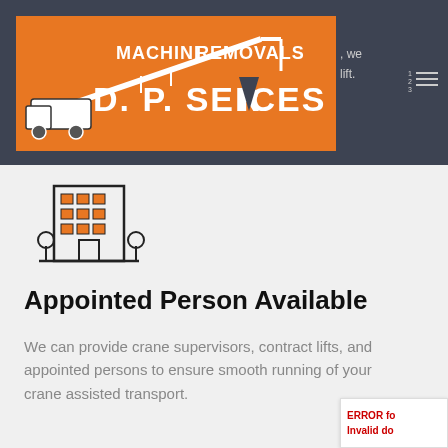[Figure (logo): D.P. Services Machine Removals logo on orange background with crane illustration]
we lift.
[Figure (illustration): Building/office block icon with trees]
Appointed Person Available
We can provide crane supervisors, contract lifts, and appointed persons to ensure smooth running of your crane assisted transport.
ERROR fo Invalid do